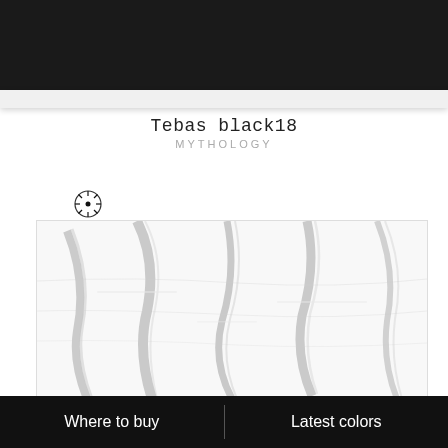[Figure (photo): Black rectangular surface/slab shown at top of page]
Tebas black18
MYTHOLOGY
[Figure (photo): Small circular zoom/crosshair icon]
[Figure (photo): White marble tile with grey veining pattern, shown in perspective]
Where to buy
Latest colors